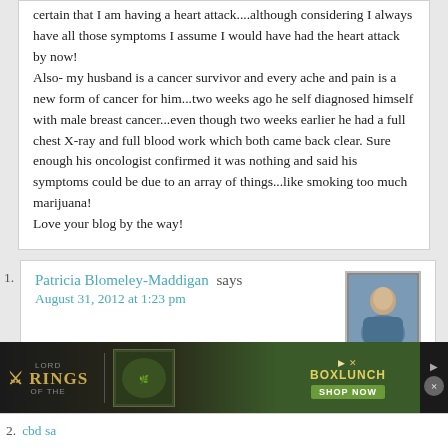certain that I am having a heart attack....although considering I always have all those symptoms I assume I would have had the heart attack by now!
Also- my husband is a cancer survivor and every ache and pain is a new form of cancer for him...two weeks ago he self diagnosed himself with male breast cancer...even though two weeks earlier he had a full chest X-ray and full blood work which both came back clear. Sure enough his oncologist confirmed it was nothing and said his symptoms could be due to an array of things...like smoking too much marijuana!
Love your blog by the way!
Patricia Blomeley-Maddigan says
August 31, 2012 at 1:23 pm
[Figure (photo): Small avatar photo of a person, appears to be a woman in blue clothing]
Hi, Ashley!
It has been awhile since I stopped by, long overdue actually.
This is a great post to come back to!!
But whether I visit here or not, you are always in my prayers.

Patricia
[Figure (screenshot): Advertisement banner for Lord of the Rings merchandise at BoxLunch with Shop Now button]